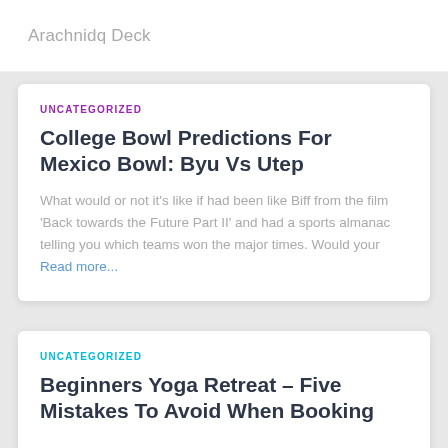Arachnidq Deck
UNCATEGORIZED
College Bowl Predictions For Mexico Bowl: Byu Vs Utep
What would or not it's like if had been like Biff from the film 'Back towards the Future Part II' and had a sports almanac telling you which teams won the major times. Would your Read more...
UNCATEGORIZED
Beginners Yoga Retreat – Five Mistakes To Avoid When Booking...